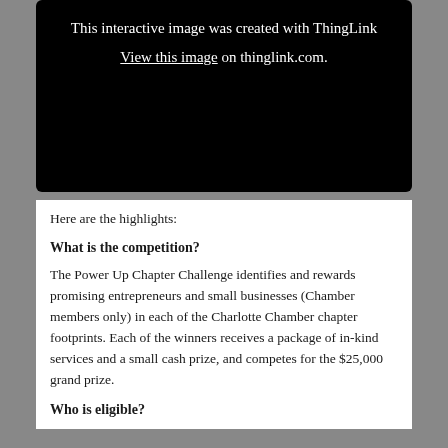[Figure (screenshot): Black box with white text reading 'This interactive image was created with ThingLink' and 'View this image on thinglink.com.' with underlined link text.]
Here are the highlights:
What is the competition?
The Power Up Chapter Challenge identifies and rewards promising entrepreneurs and small businesses (Chamber members only) in each of the Charlotte Chamber chapter footprints. Each of the winners receives a package of in-kind services and a small cash prize, and competes for the $25,000 grand prize.
Who is eligible?